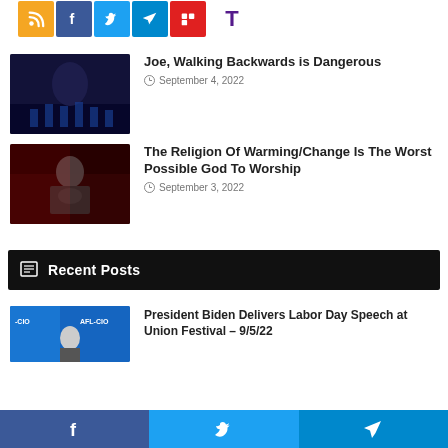[Figure (infographic): Social share icon bar: RSS (orange), Facebook (blue), Twitter (light blue), Telegram (blue), Flipboard (red), Tumblr (T, purple on white)]
[Figure (photo): Thumbnail image - dark stage/podium scene with red and blue lighting]
Joe, Walking Backwards is Dangerous
September 4, 2022
[Figure (photo): Thumbnail image - figure at presidential podium with red lighting and crowd]
The Religion Of Warming/Change Is The Worst Possible God To Worship
September 3, 2022
Recent Posts
[Figure (photo): Thumbnail - Biden at AFL-CIO event, blue background with AFL-CIO text]
President Biden Delivers Labor Day Speech at Union Festival – 9/5/22
[Figure (infographic): Bottom share bar: Facebook (blue), Twitter (light blue), Telegram (blue)]